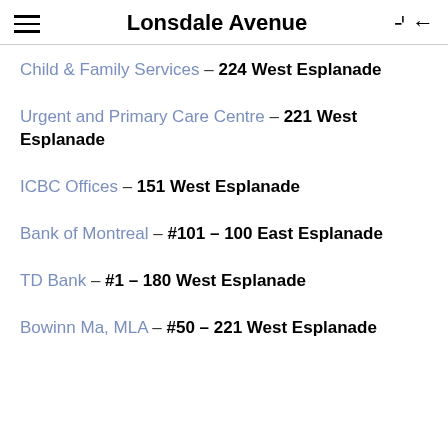Lonsdale Avenue
Child & Family Services – 224 West Esplanade
Urgent and Primary Care Centre – 221 West Esplanade
ICBC Offices – 151 West Esplanade
Bank of Montreal – #101 – 100 East Esplanade
TD Bank – #1 – 180 West Esplanade
Bowinn Ma, MLA – #50 – 221 West Esplanade